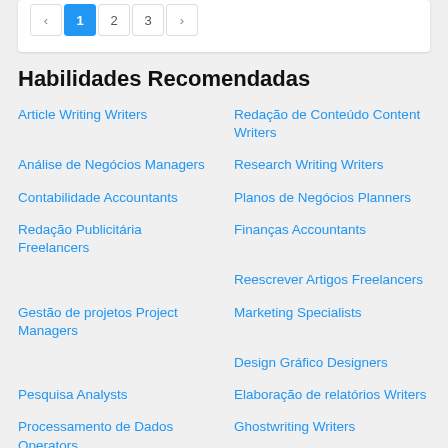[Figure (screenshot): Pagination control showing arrow left, page 1 (active/blue), page 2, page 3, arrow right]
Habilidades Recomendadas
Article Writing Writers
Redação de Conteúdo Content Writers
Análise de Negócios Managers
Research Writing Writers
Contabilidade Accountants
Planos de Negócios Planners
Redação Publicitária Freelancers
Finanças Accountants
Reescrever Artigos Freelancers
Gestão de projetos Project Managers
Marketing Specialists
Design Gráfico Designers
Pesquisa Analysts
Elaboração de relatórios Writers
Processamento de Dados Operators
Ghostwriting Writers
Redação técnica Writers